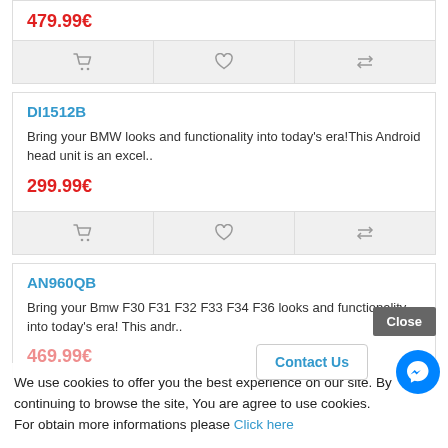479.99€
[Figure (other): Action buttons row: cart icon, heart icon, compare icon]
DI1512B
Bring your BMW looks and functionality into today's era!This Android head unit is an excel..
299.99€
[Figure (other): Action buttons row: cart icon, heart icon, compare icon]
AN960QB
Bring your Bmw F30 F31 F32 F33 F34 F36 looks and functionality into today's era! This andr..
469.99€
We use cookies to offer you the best experience on our site. By continuing to browse the site, You are agree to use cookies.
For obtain more informations please Click here